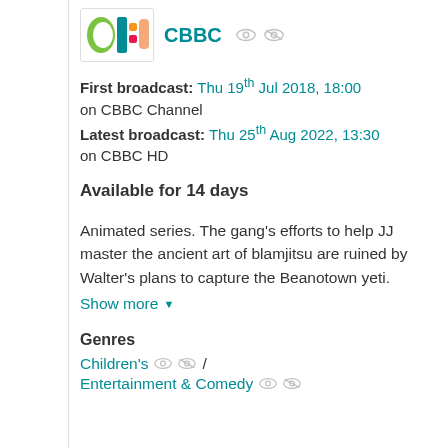[Figure (logo): CBBC channel logo - colorful logo with C and ITV-style graphic]
CBBC
First broadcast: Thu 19th Jul 2018, 18:00 on CBBC Channel
Latest broadcast: Thu 25th Aug 2022, 13:30 on CBBC HD
Available for 14 days
Animated series. The gang's efforts to help JJ master the ancient art of blamjitsu are ruined by Walter's plans to capture the Beanotown yeti.
Show more
Genres
Children's /
Entertainment & Comedy